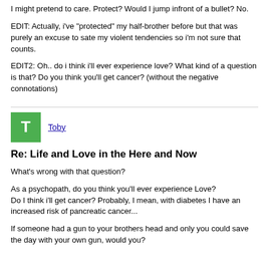I might pretend to care. Protect? Would I jump infront of a bullet? No.
EDIT: Actually, i've "protected" my half-brother before but that was purely an excuse to sate my violent tendencies so i'm not sure that counts.
EDIT2: Oh.. do i think i'll ever experience love? What kind of a question is that? Do you think you'll get cancer? (without the negative connotations)
Toby
Re: Life and Love in the Here and Now
What's wrong with that question?
As a psychopath, do you think you'll ever experience Love?
Do I think i'll get cancer? Probably, I mean, with diabetes I have an increased risk of pancreatic cancer...
If someone had a gun to your brothers head and only you could save the day with your own gun, would you?